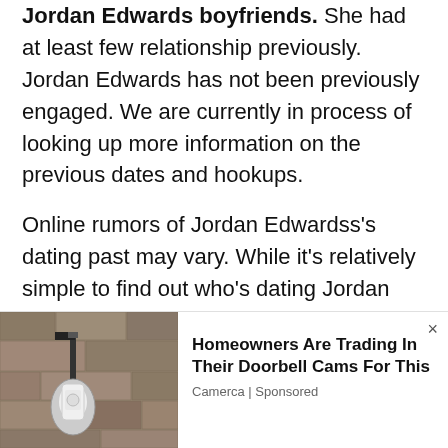Jordan Edwards boyfriends. She had at least few relationship previously. Jordan Edwards has not been previously engaged. We are currently in process of looking up more information on the previous dates and hookups.
Online rumors of Jordan Edwardss's dating past may vary. While it's relatively simple to find out who's dating Jordan Edwards, it's harder to keep track of all her flings, hookups and breakups. It's even harder to keep every celebrity dating page and relationship
[Figure (photo): Advertisement photo showing a doorbell camera mounted on a stone wall at night]
Homeowners Are Trading In Their Doorbell Cams For This
Camerca | Sponsored